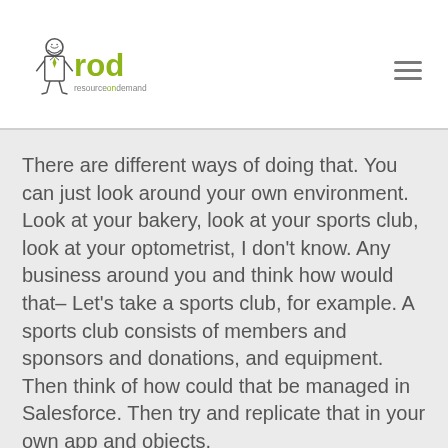[Figure (logo): Resource on Demand (rod) logo with illustrated character and green 'rod' text, 'resourceondemand' subtitle]
There are different ways of doing that. You can just look around your own environment. Look at your bakery, look at your sports club, look at your optometrist, I don't know. Any business around you and think how would that– Let's take a sports club, for example. A sports club consists of members and sponsors and donations, and equipment. Then think of how could that be managed in Salesforce. Then try and replicate that in your own app and objects.